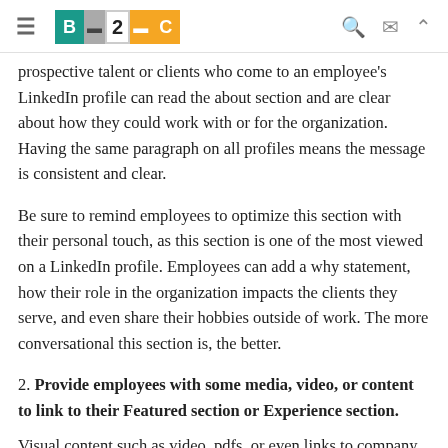B2C
prospective talent or clients who come to an employee's LinkedIn profile can read the about section and are clear about how they could work with or for the organization. Having the same paragraph on all profiles means the message is consistent and clear.
Be sure to remind employees to optimize this section with their personal touch, as this section is one of the most viewed on a LinkedIn profile. Employees can add a why statement, how their role in the organization impacts the clients they serve, and even share their hobbies outside of work. The more conversational this section is, the better.
2. Provide employees with some media, video, or content to link to their Featured section or Experience section.
Visual content such as video, pdfs, or even links to company